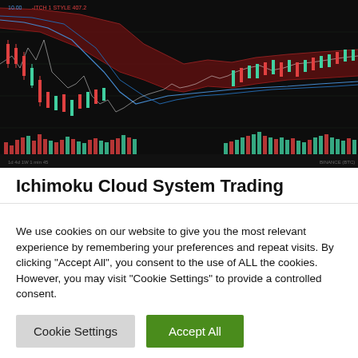[Figure (continuous-plot): Ichimoku Cloud trading chart on dark background showing candlestick price action with a large dark red/maroon cloud formation descending from upper right area, with teal/red volume bars at the bottom and white/blue indicator lines overlaid on the price action.]
Ichimoku Cloud System Trading
We use cookies on our website to give you the most relevant experience by remembering your preferences and repeat visits. By clicking “Accept All”, you consent to the use of ALL the cookies. However, you may visit "Cookie Settings" to provide a controlled consent.